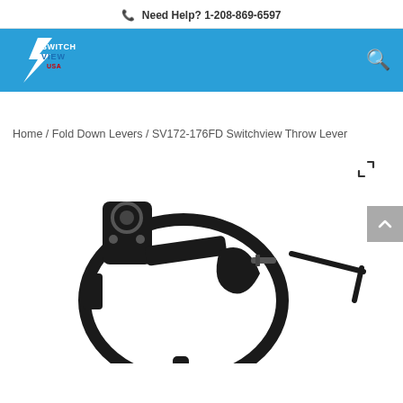Need Help? 1-208-869-6597
[Figure (logo): SwitchView USA logo in white/blue/red on blue background]
Home / Fold Down Levers / SV172-176FD Switchview Throw Lever
[Figure (photo): SV172-176FD Switchview Throw Lever product photo showing black metal lever assembly with ring clamp, fold-down lever, screw, and hex wrench on white background]